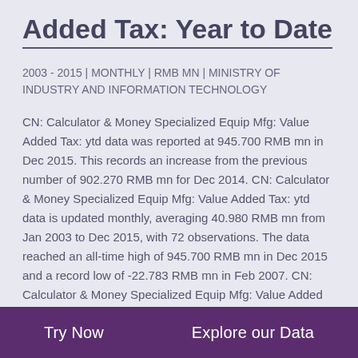Added Tax: Year to Date
2003 - 2015 | MONTHLY | RMB MN | MINISTRY OF INDUSTRY AND INFORMATION TECHNOLOGY
CN: Calculator & Money Specialized Equip Mfg: Value Added Tax: ytd data was reported at 945.700 RMB mn in Dec 2015. This records an increase from the previous number of 902.270 RMB mn for Dec 2014. CN: Calculator & Money Specialized Equip Mfg: Value Added Tax: ytd data is updated monthly, averaging 40.980 RMB mn from Jan 2003 to Dec 2015, with 72 observations. The data reached an all-time high of 945.700 RMB mn in Dec 2015 and a record low of -22.783 RMB mn in Feb 2007. CN: Calculator & Money Specialized Equip Mfg: Value Added Tax: ytd data remains active status in CEIC and is reported by Ministry of Industry and Information Technology. The data is categorized under Global Database's China – Table CN.RFF: Electronic Mfg Industry: Computer: Monthly: Calculator
Try Now   Explore our Data